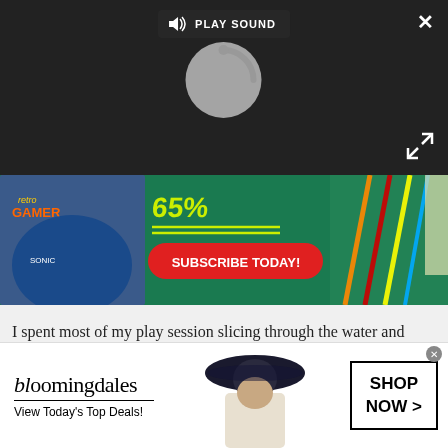[Figure (screenshot): Video player overlay on dark background with 'PLAY SOUND' button, loading spinner, close X button, and expand arrows]
[Figure (screenshot): Retro Gamer magazine subscription advertisement banner with green background, magazine cover, Sonic characters, pencils/scissors, and 'SUBSCRIBE TODAY!' red button]
I spent most of my play session slicing through the water and picking off AI merchant vessels around the same level as me. Circling them so that they couldn't escape I'd fire on their sails to slow them down before turning my force to the bulk of the ship.
[Figure (screenshot): Bloomingdales advertisement banner with logo, 'View Today's Top Deals!' tagline, model in hat, and 'SHOP NOW >' button]